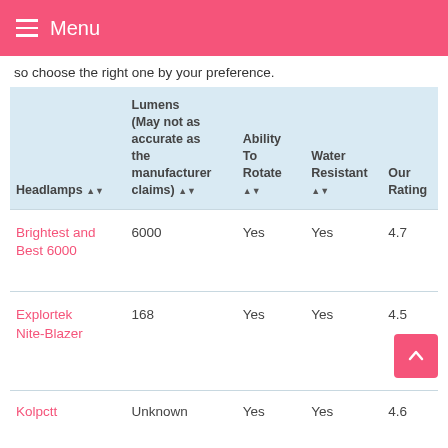Menu
so choose the right one by your preference.
| Headlamps | Lumens (May not as accurate as the manufacturer claims) | Ability To Rotate | Water Resistant | Our Rating |
| --- | --- | --- | --- | --- |
| Brightest and Best 6000 | 6000 | Yes | Yes | 4.7 |
| Explortek Nite-Blazer | 168 | Yes | Yes | 4.5 |
| Kolpctt | Unknown | Yes | Yes | 4.6 |